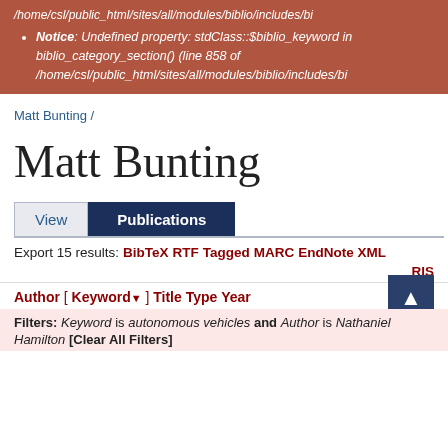/home/csl/public_html/sites/all/modules/biblio/includes/bi
Notice: Undefined property: stdClass::$biblio_keyword in biblio_category_section() (line 858 of /home/csl/public_html/sites/all/modules/biblio/includes/bi
Matt Bunting /
Matt Bunting
View | Publications
Export 15 results: BibTeX RTF Tagged MARC EndNote XML RIS
Author [ Keyword ] Title Type Year
Filters: Keyword is autonomous vehicles and Author is Nathaniel Hamilton. [Clear All Filters]